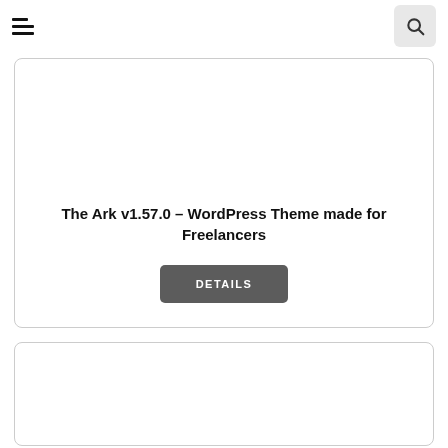The Ark v1.57.0 – WordPress Theme made for Freelancers
DETAILS